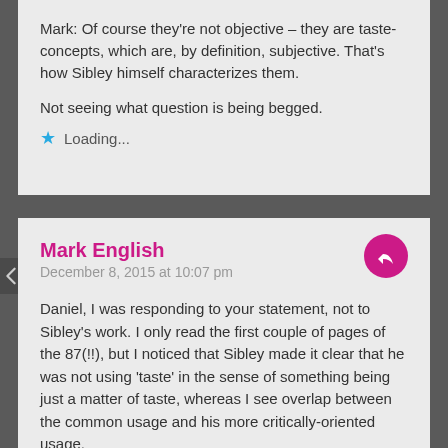Mark: Of course they're not objective – they are taste-concepts, which are, by definition, subjective. That's how Sibley himself characterizes them.
Not seeing what question is being begged.
Loading...
Mark English
December 8, 2015 at 10:07 pm
Daniel, I was responding to your statement, not to Sibley's work. I only read the first couple of pages of the 87(!!), but I noticed that Sibley made it clear that he was not using 'taste' in the sense of something being just a matter of taste, whereas I see overlap between the common usage and his more critically-oriented usage.